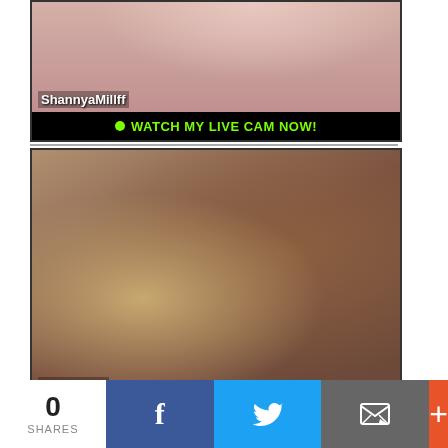[Figure (photo): Live cam profile card for ShannyaMillff showing a figure in red lingerie]
● WATCH MY LIVE CAM NOW!
[Figure (photo): Live cam profile card for MulanWild showing a young woman lying on a couch]
● WATCH MY LIVE CAM NOW!
0 SHARES
[Figure (infographic): Social share buttons: Facebook, Twitter, Email, More (+)]